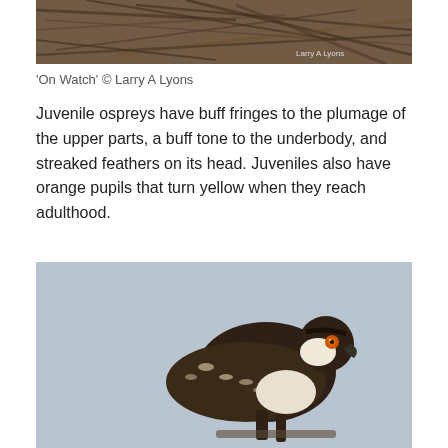[Figure (photo): Top portion of osprey nest made of sticks and branches, with a watermark 'Larry A Lyons' in the bottom right corner]
'On Watch' © Larry A Lyons
Juvenile ospreys have buff fringes to the plumage of the upper parts, a buff tone to the underbody, and streaked feathers on its head. Juveniles also have orange pupils that turn yellow when they reach adulthood.
[Figure (photo): Juvenile osprey perched, showing dark brown plumage with buff/white fringes on feathers, white underparts with streaking, and orange eye, against a light blue-grey background]